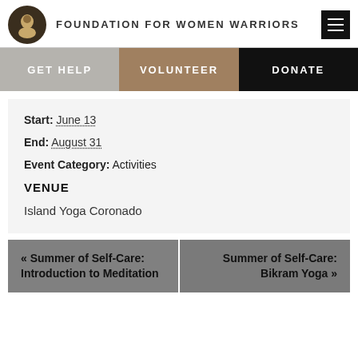FOUNDATION FOR WOMEN WARRIORS
Start: June 13
End: August 31
Event Category: Activities
VENUE
Island Yoga Coronado
« Summer of Self-Care: Introduction to Meditation
Summer of Self-Care: Bikram Yoga »